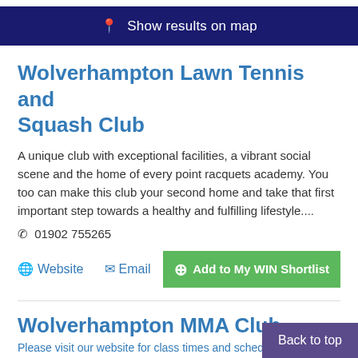Show results on map
Wolverhampton Lawn Tennis and Squash Club
A unique club with exceptional facilities, a vibrant social scene and the home of every point racquets academy. You too can make this club your second home and take that first important step towards a healthy and fulfilling lifestyle....
✆ 01902 755265
Website
Email
Add to My WIN Shortlist
Wolverhampton MMA Club
Please visit our website for class times and schedule
At Wolverhampton MMA we offer a friendly approach mixed martial arts. We provide classes for both child...
Back to top